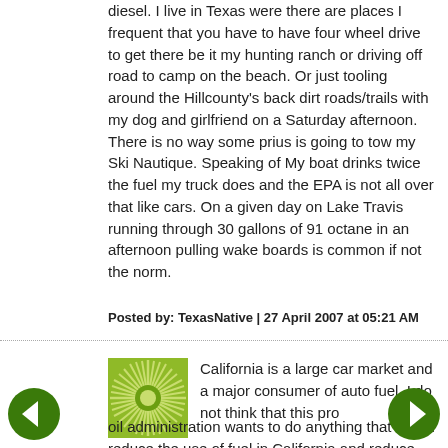diesel. I live in Texas were there are places I frequent that you have to have four wheel drive to get there be it my hunting ranch or driving off road to camp on the beach. Or just tooling around the Hillcounty's back dirt roads/trails with my dog and girlfriend on a Saturday afternoon. There is no way some prius is going to tow my Ski Nautique. Speaking of My boat drinks twice the fuel my truck does and the EPA is not all over that like cars. On a given day on Lake Travis running through 30 gallons of 91 octane in an afternoon pulling wake boards is common if not the norm.
Posted by: TexasNative | 27 April 2007 at 05:21 AM
[Figure (logo): Green sunburst/starburst avatar icon with circular center]
California is a large car market and a major consumer of auto fuel. I do not think that this pro oil administration wants to do anything that would reduce the use of fuel in California and reduce the $100b per year profits that the oil industry takes.
[Figure (illustration): Left navigation arrow button (green circle with white left arrow)]
[Figure (illustration): Right navigation arrow button (green circle with white right arrow)]